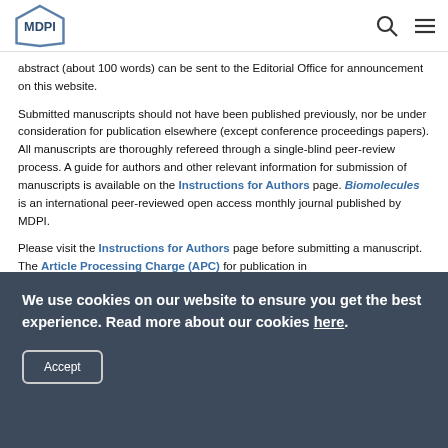MDPI
abstract (about 100 words) can be sent to the Editorial Office for announcement on this website.
Submitted manuscripts should not have been published previously, nor be under consideration for publication elsewhere (except conference proceedings papers). All manuscripts are thoroughly refereed through a single-blind peer-review process. A guide for authors and other relevant information for submission of manuscripts is available on the Instructions for Authors page. Biomolecules is an international peer-reviewed open access monthly journal published by MDPI.
Please visit the Instructions for Authors page before submitting a manuscript. The Article Processing Charge (APC) for publication in
We use cookies on our website to ensure you get the best experience. Read more about our cookies here.
Accept